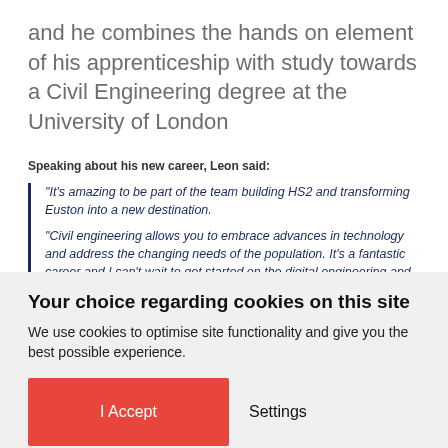and he combines the hands on element of his apprenticeship with study towards a Civil Engineering degree at the University of London
Speaking about his new career, Leon said:
“It’s amazing to be part of the team building HS2 and transforming Euston into a new destination.
“Civil engineering allows you to embrace advances in technology and address the changing needs of the population. It’s a fantastic career and I can’t wait to get started on the digital engineering and design aspect of the job next year.”
Your choice regarding cookies on this site
We use cookies to optimise site functionality and give you the best possible experience.
I Accept   Settings